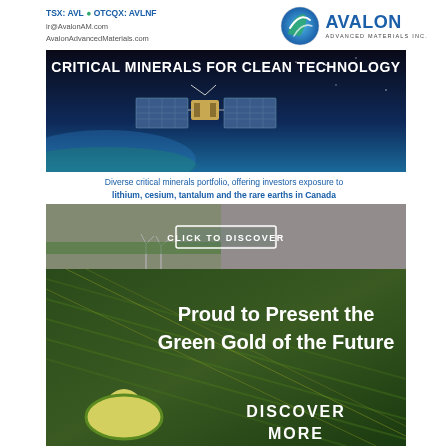TSX: AVL • OTCQX: AVLNF
ir@AvalonAM.com
AvalonAdvancedMaterials.com
[Figure (photo): Avalon Advanced Materials Inc. logo with circular green/blue sphere icon]
[Figure (photo): Dark banner with text 'CRITICAL MINERALS FOR CLEAN TECHNOLOGY' and satellite image over Earth]
Diverse critical minerals portfolio, offering investors exposure to lithium, cesium, tantalum and the rare earths in Canada
[Figure (photo): Banner with 'CLICK TO DISCOVER' button over collage of clean technology images]
[Figure (photo): Dark green banner with text 'Proud to Present the Green Gold of the Future', yellow droplet icon, and 'DISCOVER MORE' text]